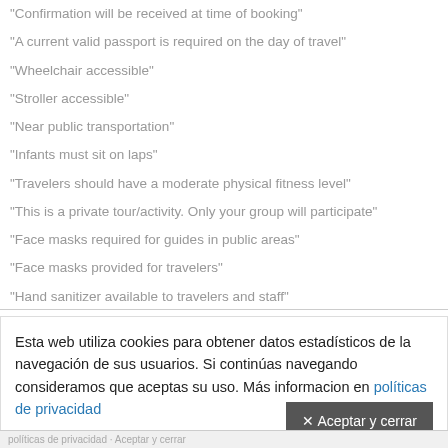"Confirmation will be received at time of booking"
"A current valid passport is required on the day of travel"
"Wheelchair accessible"
"Stroller accessible"
"Near public transportation"
"Infants must sit on laps"
"Travelers should have a moderate physical fitness level"
"This is a private tour/activity. Only your group will participate"
"Face masks required for guides in public areas"
"Face masks provided for travelers"
"Hand sanitizer available to travelers and staff"
"Regularly sanitized high-traffic areas"
"Gear/equipment sanitized between use"
Esta web utiliza cookies para obtener datos estadísticos de la navegación de sus usuarios. Si continúas navegando consideramos que aceptas su uso. Más informacion en políticas de privacidad
políticas de privacidad · Aceptar y cerrar